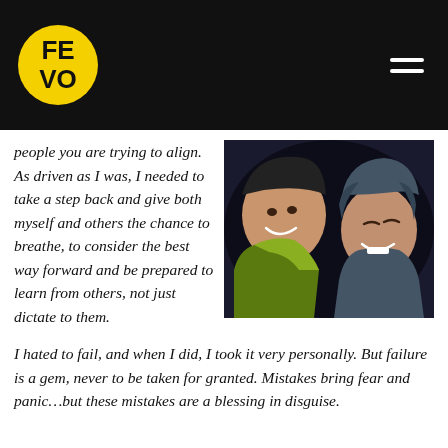[Figure (logo): FEVO logo: yellow circle with bold black text FE VO on dark header bar]
[Figure (photo): Two smiling children in winter jackets photographed from below looking up, dark background]
people you are trying to align. As driven as I was, I needed to take a step back and give both myself and others the chance to breathe, to consider the best way forward and be prepared to learn from others, not just dictate to them.
I hated to fail, and when I did, I took it very personally. But failure is a gem, never to be taken for granted. Mistakes bring fear and panic…but these mistakes are a blessing in disguise.